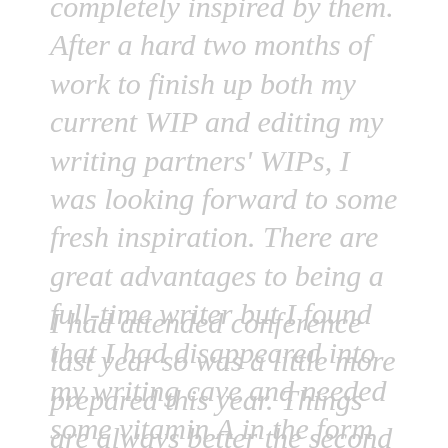completely inspired by them. After a hard two months of work to finish up both my current WIP and editing my writing partners' WIPs, I was looking forward to some fresh inspiration. There are great advantages to being a full-time writer but I found that I had disappeared into my writing cave and needed some vitamin A in the form some writing workshops.
I had attended conference last year so was a little more prepared this year. Things are always better the second time around. Recently I had been asked whether I thought writing conferences